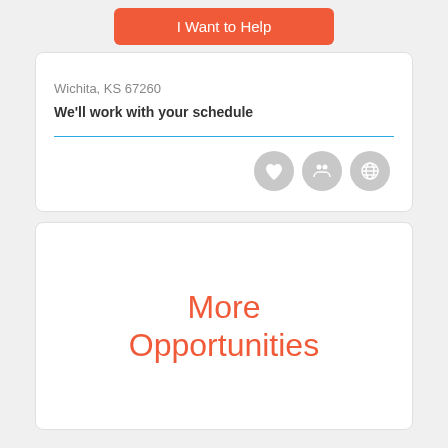I Want to Help
Wichita, KS 67260
We'll work with your schedule
[Figure (illustration): Three grey circular icons representing volunteer/community categories]
More Opportunities